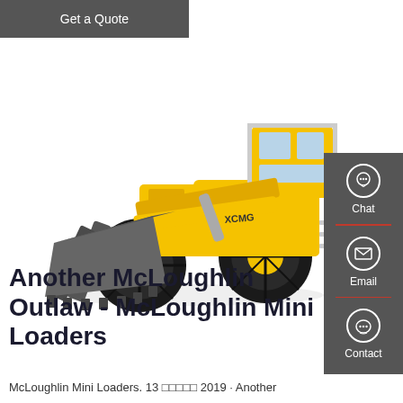Get a Quote
[Figure (photo): Yellow and black front loader / wheel loader machine (XCMG/Monarch brand) with large bucket, photographed on white background]
[Figure (infographic): Side panel with Chat (headset icon), Email (envelope icon), and Contact (speech bubble icon) buttons on dark grey background with red dividers]
Another McLoughlin Outlaw - McLoughlin Mini Loaders
McLoughlin Mini Loaders. 13 ????? 2019 · Another